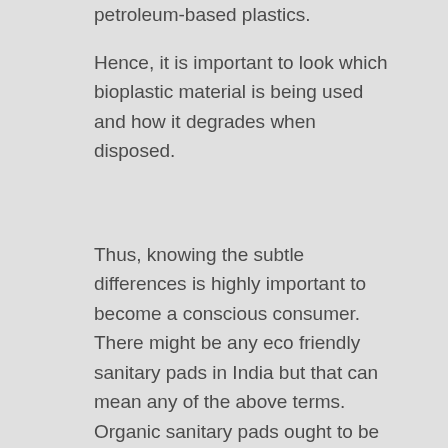petroleum-based plastics.
Hence, it is important to look which bioplastic material is being used and how it degrades when disposed.
Thus, knowing the subtle differences is highly important to become a conscious consumer. There might be any eco friendly sanitary pads in India but that can mean any of the above terms. Organic sanitary pads ought to be used on a large scale in the future to